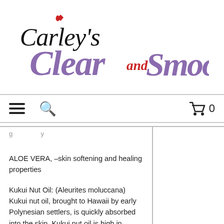[Figure (logo): Carley's Clear and Smooth logo with stylized purple and red cursive lettering]
[Figure (infographic): Navigation bar with hamburger menu, search icon, and shopping cart with 0 items]
ALOE VERA, –skin softening and healing properties
Kukui Nut Oil: (Aleurites moluccana) Kukui nut oil, brought to Hawaii by early Polynesian settlers, is quickly absorbed into the skin. Kukui nut oil is high in linoleic and linolenic essential fatty acids. Excellent for skin